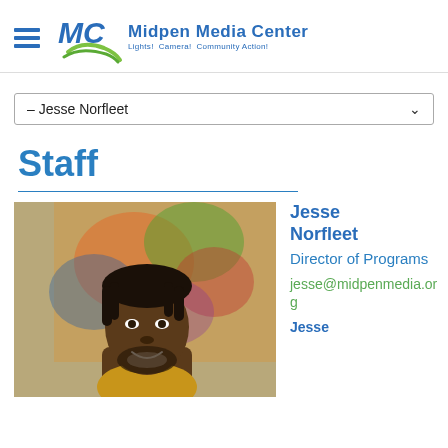Midpen Media Center — Lights! Camera! Community Action!
– Jesse Norfleet
Staff
[Figure (photo): Portrait photo of Jesse Norfleet, a man with dreadlocks and a beard, smiling, in front of a colorful painting]
Jesse Norfleet
Director of Programs
jesse@midpenmedia.org